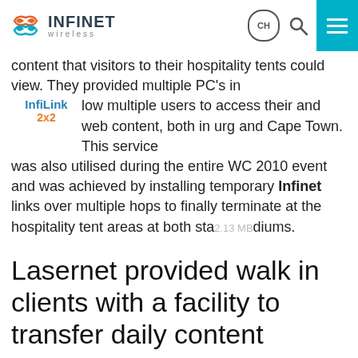INFINET wireless — CH [search] [menu]
content that visitors to their hospitality tents could view. They provided multiple PC's in [InfiLink 2x2] low multiple users to access their and web content, both in urg and Cape Town. This service was also utilised during the entire WC 2010 event and was achieved by installing temporary Infinet links over multiple hops to finally terminate at the hospitality tent areas at both stadiums.
Lasernet provided walk in clients with a facility to transfer daily content